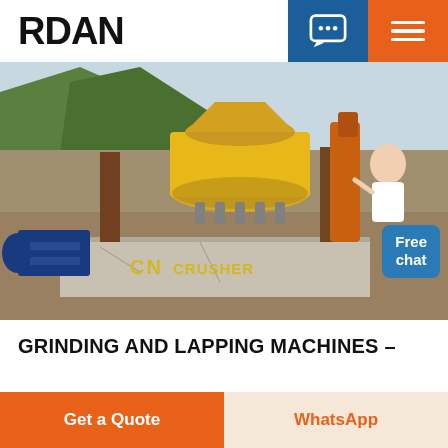RDAN
[Figure (photo): Industrial CN Crusher machine (yellow) on a construction site with mountains in background, blue electric motor visible on the left, concrete base, CN CRUSHER text on the base]
GRINDING AND LAPPING MACHINES -
Get a Quote
WhatsApp